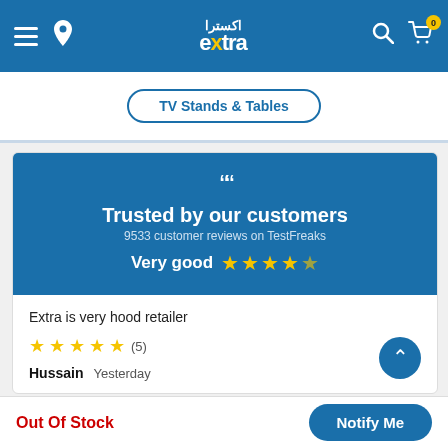[Figure (screenshot): Extra electronics store website header with navigation bar showing hamburger menu, location pin, Extra logo in Arabic and English, search icon, and cart icon with 0 badge]
TV Stands & Tables
Trusted by our customers
9533 customer reviews on TestFreaks
Very good ★★★★☆
Extra is very hood retailer
★★★★★ (5)
Hussain   Yesterday
Out Of Stock
Notify Me